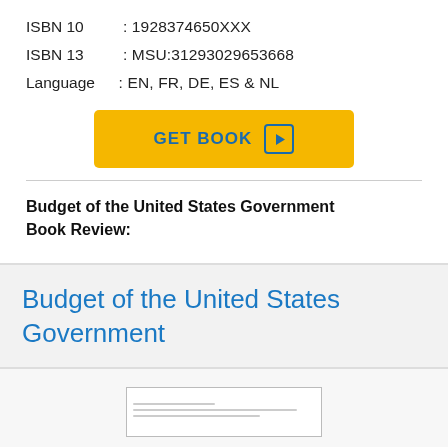ISBN 10    : 1928374650XXX
ISBN 13    : MSU:31293029653668
Language  : EN, FR, DE, ES & NL
[Figure (other): GET BOOK button in yellow/gold with play icon]
Budget of the United States Government Book Review:
Budget of the United States Government
[Figure (screenshot): Preview thumbnail of book page]